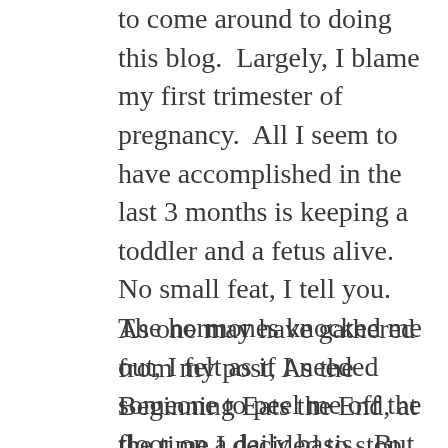to come around to doing this blog.  Largely, I blame my first trimester of pregnancy.  All I seem to have accomplished in the last 3 months is keeping a toddler and a fetus alive.  No small feat, I tell you.  The hormones knocked me out, I felt as if I needed someone to peel me off the floor on a daily basis.  But as I begin my second trimester, I find both energy and mental clarity returning slowly.
As one may have gathered from my post, As the Beginning Eats the End, at the time I decided to stop tattooing, my reasons felt flimsy but my resolve was certain.  My boss, self-appointed “Psychic Ass-hole”, who is rarely ever wrong, told me that if I wasn’t